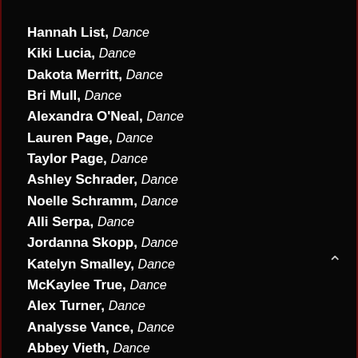Hannah List, Dance
Kiki Lucia, Dance
Dakota Merritt, Dance
Bri Mull, Dance
Alexandra O'Neal, Dance
Lauren Page, Dance
Taylor Page, Dance
Ashley Schrader, Dance
Noelle Schramm, Dance
Alli Serpa, Dance
Jordanna Skopp, Dance
Katelyn Smalley, Dance
McKaylee True, Dance
Alex Turner, Dance
Analysse Vance, Dance
Abbey Vieth, Dance